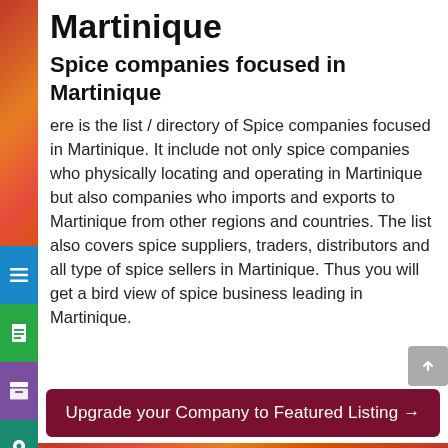Martinique
Spice companies focused in Martinique
Here is the list / directory of Spice companies focused in Martinique. It include not only spice companies who physically locating and operating in Martinique but also companies who imports and exports to Martinique from other regions and countries. The list also covers spice suppliers, traders, distributors and all type of spice sellers in Martinique. Thus you will get a bird view of spice business leading in Martinique.
Upgrade your Company to Featured Listing →